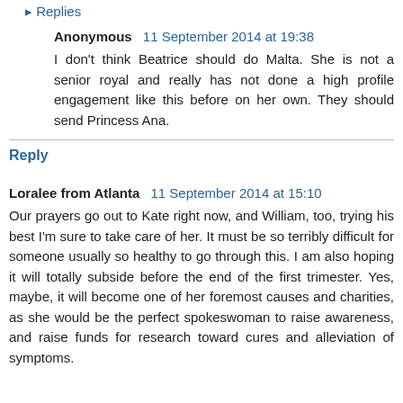▸ Replies
Anonymous  11 September 2014 at 19:38
I don't think Beatrice should do Malta. She is not a senior royal and really has not done a high profile engagement like this before on her own. They should send Princess Ana.
Reply
Loralee from Atlanta  11 September 2014 at 15:10
Our prayers go out to Kate right now, and William, too, trying his best I'm sure to take care of her. It must be so terribly difficult for someone usually so healthy to go through this. I am also hoping it will totally subside before the end of the first trimester. Yes, maybe, it will become one of her foremost causes and charities, as she would be the perfect spokeswoman to raise awareness, and raise funds for research toward cures and alleviation of symptoms.